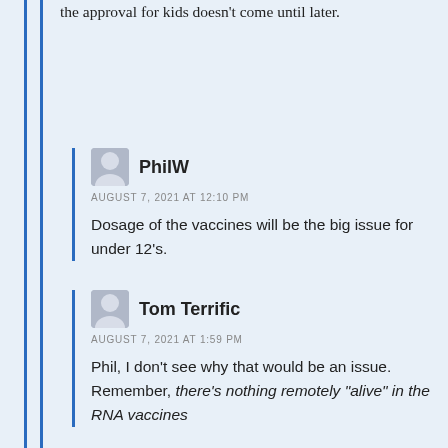the approval for kids doesn't come until later.
PhilW
AUGUST 7, 2021 AT 12:10 PM
Dosage of the vaccines will be the big issue for under 12's.
Tom Terrific
AUGUST 7, 2021 AT 1:59 PM
Phil, I don't see why that would be an issue. Remember, there's nothing remotely "alive" in the RNA vaccines